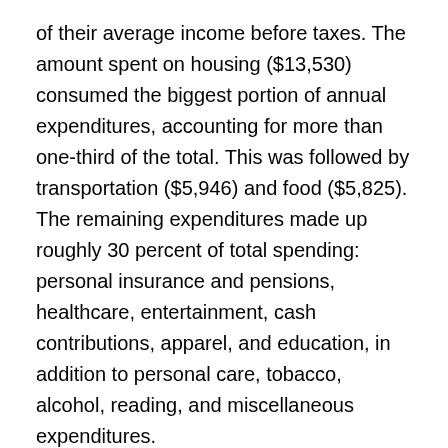of their average income before taxes. The amount spent on housing ($13,530) consumed the biggest portion of annual expenditures, accounting for more than one-third of the total. This was followed by transportation ($5,946) and food ($5,825). The remaining expenditures made up roughly 30 percent of total spending: personal insurance and pensions, healthcare, entertainment, cash contributions, apparel, and education, in addition to personal care, tobacco, alcohol, reading, and miscellaneous expenditures.
Black Americans are just 13 percent of the U.S. population, and yet, we're on trend to have a buying power of $1.4 trillion by 2019.  A new Nielsen study hints that marketers may want to start developing a better consumer-producer relationship with African Americans if they want to make big bucks.